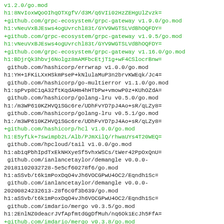v1.2.0/go.mod
h1:8NvIoxWQoOIhqOTXgfV/d3M/q6VIi02HzZEHgUlZvzk=
+github.com/grpc-ecosystem/grpc-gateway v1.9.0/go.mod
h1:vNeuVxBJEsws4ogUvrchl83t/GYV9WGTSLVdBhOQFDY=
+github.com/grpc-ecosystem/grpc-gateway v1.9.5/go.mod
h1:vNeuVxBJEsws4ogUvrchl83t/GYV9WGTSLVdBhOQFDY=
+github.com/grpc-ecosystem/grpc-gateway v1.16.0/go.mod
h1:BDjrQk3hbvj6Nolgz8mAMFbcEtjT1g+wF4CSlocrBnw=
 github.com/hashicorp/errwrap v1.0.0/go.mod
h1:YH+1FKiLXxHSkmPseP+kNlulaMuP3n2brvKWEqk/Jc4=
 github.com/hashicorp/go-multierror v1.1.0/go.mod
h1:spPvp8C1qA32ftKqdAHm4hHTbPw+vmowP0z+KUhOZdA=
 github.com/hashicorp/golang-lru v0.5.0/go.mod
h1:/m3WP610KZHVQ1SGc6re/UDhFvYD7pJ4Ao+sR/qLZy8=
 github.com/hashicorp/golang-lru v0.5.1/go.mod
h1:/m3WP610KZHVQ1SGc6re/UDhFvYD7pJ4Ao+sR/qLZy8=
+github.com/hashicorp/hcl v1.0.0/go.mod
h1:E5yfLk+7swimpb2L/Alb/PJmXilQ/rhwaUYs4T20WEQ=
 github.com/hpcloud/tail v1.0.0/go.mod
h1:ab1qPbhIpdTxEkNHXyeSf5vhxWSCs/tWer42PpOxQnU=
 github.com/ianlancetaylor/demangle v0.0.0-
20181102032728-5e5cf60278f6/go.mod
h1:aSSvb/t6k1mPoxDqO4vJh6VOCGPwU4OC2/Eqndh1Sc=
 github.com/ianlancetaylor/demangle v0.0.0-
20200824232613-28f6c0f3b639/go.mod
h1:aSSvb/t6k1mPoxDqO4vJh6VOCGPwU4OC2/Eqndh1Sc=
 github.com/imdario/mergo v0.3.5/go.mod
h1:2EnlNZ0deacrJVfApfmtdGgDfMuh/nq6Ok1EcJh5FfA=
+github.com/imdario/mergo v0.3.8/go.mod
h1:2EnlNZ0deacrJVfApfmtdGgDfMuh/nq6Ok1EcJh5FfA=